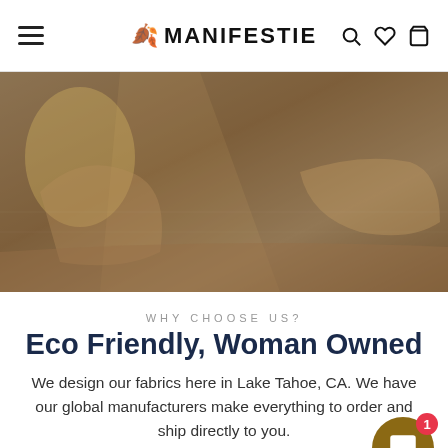MANIFESTIE — navigation bar with hamburger menu, brand logo, search, wishlist, and cart icons
[Figure (photo): Hero image showing a person in yoga/athletic wear in a dimly lit, warm-toned scene]
WHY CHOOSE US?
Eco Friendly, Woman Owned
We design our fabrics here in Lake Tahoe, CA. We have our global manufacturers make everything to order and ship directly to you.
We are proud to announce our business model